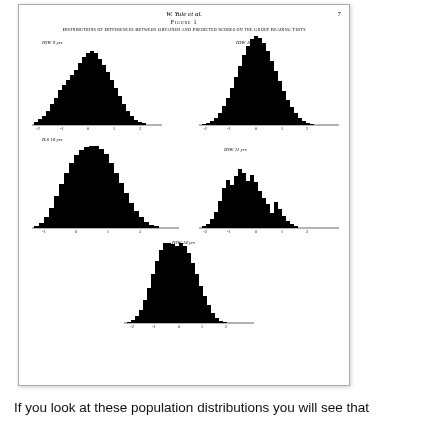W. Yule et al.    7
FIGURE 1
Distributions of Differences Between Obtained and Predicted Scores on the Group Reading Tests
[Figure (histogram): Five histograms showing distributions of differences between obtained and predicted scores on group reading tests for: IOW 9 yrs, IOW 10 yrs, ILS 10 yrs, IOW 11 yrs, IOW 14 yrs. Each histogram is roughly bell-shaped and centered near 0, with x-axes ranging from about -2 to +2.]
If you look at these population distributions you will see that